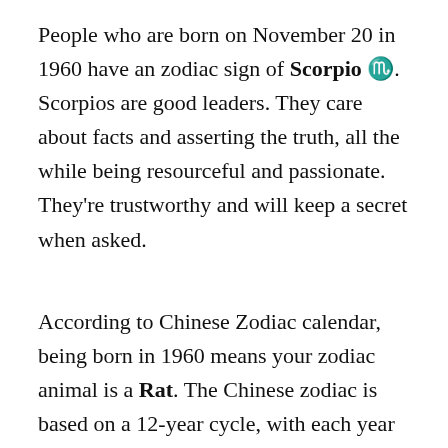People who are born on November 20 in 1960 have an zodiac sign of Scorpio ♏. Scorpios are good leaders. They care about facts and asserting the truth, all the while being resourceful and passionate. They're trustworthy and will keep a secret when asked.
According to Chinese Zodiac calendar, being born in 1960 means your zodiac animal is a Rat. The Chinese zodiac is based on a 12-year cycle, with each year in a cycle related to an animal sign. A zodiac system has existed in Chinese culture for more than 2,000 years ago. Much